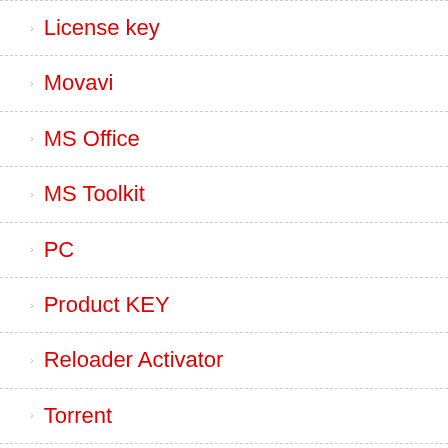License key
Movavi
MS Office
MS Toolkit
PC
Product KEY
Reloader Activator
Torrent
Uncategorized